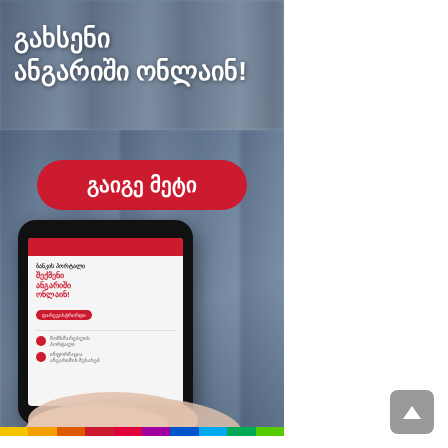[Figure (illustration): Advertisement banner with Georgian text. Top half shows blurred crowd background with white bold Georgian text reading 'გახსენი ანგარიში ონლაინ!' (Open account online!). Bottom half shows the same blurred background with a red rounded-rectangle button labeled 'გაიგე მეტი' (Learn more) and a hand holding a smartphone displaying a mobile banking app screen. A multicolor bar runs along the bottom.]
გახსენი ანგარიში ონლაინ!
გაიგე მეტი